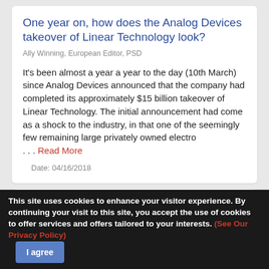One year on, how does the Analog Devices takeover of Linear Technology look?
Ally Winning, European Editor, PSD
It's been almost a year a year to the day (10th March) since Analog Devices announced that the company had completed its approximately $15 billion takeover of Linear Technology. The initial announcement had come as a shock to the industry, in that one of the seemingly few remaining large privately owned electro . . . Read More
Date: 04/16/2018
60V Buck-Boost LED Driver with up to 98%
This site uses cookies to enhance your visitor experience. By continuing your visit to this site, you accept the use of cookies to offer services and offers tailored to your interests. (See Our Privacy Policy)  I agree